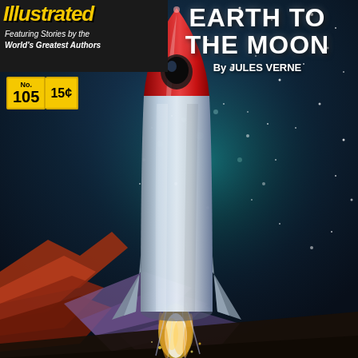[Figure (illustration): Illustrated Classic Comics magazine cover showing a silver rocket with red nose cone launching through space with stars and nebula background, terrain at bottom with fire and exhaust, vintage 1950s sci-fi style artwork]
Illustrated Classics — Featuring Stories by the World's Greatest Authors
No. 105  15¢
EARTH TO THE MOON
By JULES VERNE